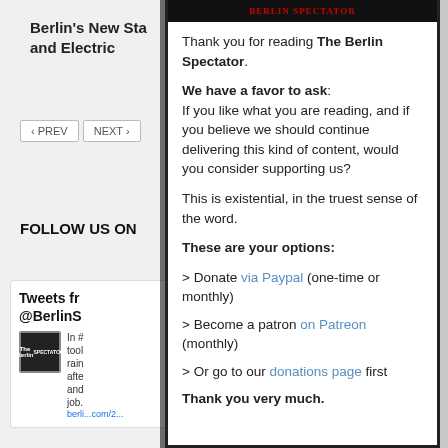Berlin's New Sta... and Electric
FOLLOW US ON
Tweets fr... @BerlinS...
[Figure (screenshot): The Berlin Spectator logo header image, dark background with red logo text]
Thank you for reading The Berlin Spectator. We have a favor to ask: If you like what you are reading, and if you believe we should continue delivering this kind of content, would you consider supporting us? This is existential, in the truest sense of the word. These are your options: > Donate via Paypal (one-time or monthly) > Become a patron on Patreon (monthly) > Or go to our donations page first Thank you very much.